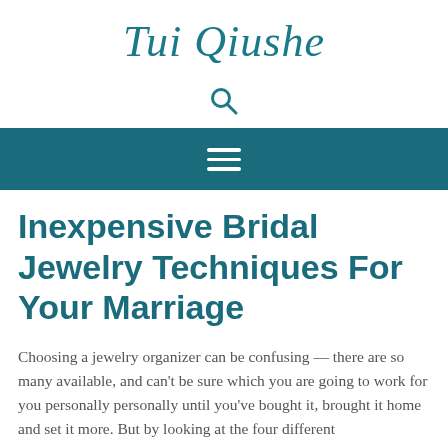Tui Qiushe
[Figure (other): Search icon (magnifying glass)]
[Figure (other): Hamburger menu icon (three horizontal lines) on teal background navigation bar]
Inexpensive Bridal Jewelry Techniques For Your Marriage
Choosing a jewelry organizer can be confusing — there are so many available, and can't be sure which you are going to work for you personally personally until you've bought it, brought it home and set it more. But by looking at the four different